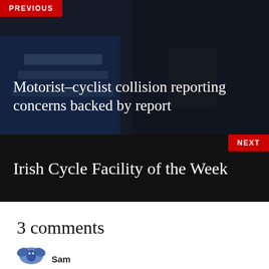[Figure (photo): Dark photo background showing Garda traffic cone and vest, used as background for 'PREVIOUS' navigation block]
PREVIOUS
Motorist–cyclist collision reporting concerns backed by report
NEXT
Irish Cycle Facility of the Week
3 comments
Sam